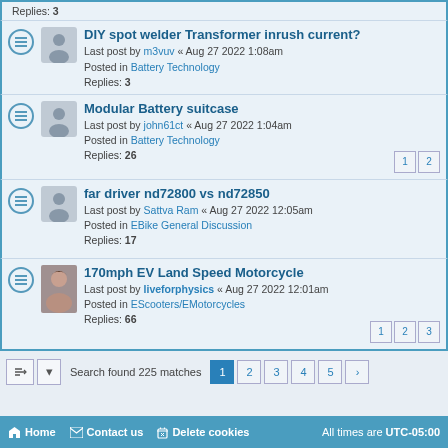Replies: 3 (partial, top-cropped)
DIY spot welder Transformer inrush current? — Last post by m3vuv « Aug 27 2022 1:08am — Posted in Battery Technology — Replies: 3
Modular Battery suitcase — Last post by john61ct « Aug 27 2022 1:04am — Posted in Battery Technology — Replies: 26 — Pages: 1 2
far driver nd72800 vs nd72850 — Last post by Sattva Ram « Aug 27 2022 12:05am — Posted in EBike General Discussion — Replies: 17
170mph EV Land Speed Motorcycle — Last post by liveforphysics « Aug 27 2022 12:01am — Posted in EScooters/EMotorcycles — Replies: 66 — Pages: 1 2 3
Search found 225 matches — Pages: 1 2 3 4 5 >
Home   Contact us   Delete cookies   All times are UTC-05:00